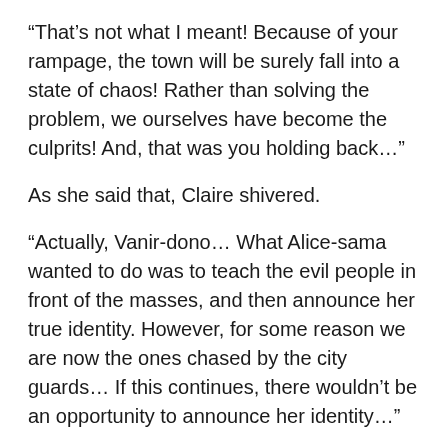“That’s not what I meant! Because of your rampage, the town will be surely fall into a state of chaos! Rather than solving the problem, we ourselves have become the culprits! And, that was you holding back…”
As she said that, Claire shivered.
“Actually, Vanir-dono… What Alice-sama wanted to do was to teach the evil people in front of the masses, and then announce her true identity. However, for some reason we are now the ones chased by the city guards… If this continues, there wouldn’t be an opportunity to announce her identity…”
Rain let out a long sigh.
Hearing the opinion of the two, Moi reflected on Moi actions. It seemed that Moi had truly gone too far.